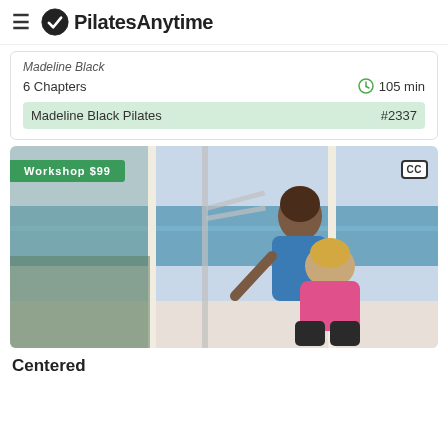PilatesAnytime
Madeline Black
6 Chapters   105 min
Madeline Black Pilates   #2337
[Figure (photo): Two women in a Pilates studio near large windows with ocean view. Instructor in blue tank top assists a student in pink top kneeling on the floor using Pilates equipment. Workshop $99 badge and CC badge visible.]
Centered